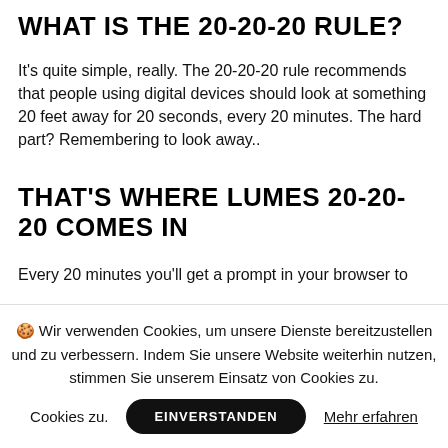WHAT IS THE 20-20-20 RULE?
It's quite simple, really. The 20-20-20 rule recommends that people using digital devices should look at something 20 feet away for 20 seconds, every 20 minutes. The hard part? Remembering to look away..
THAT'S WHERE LUMES 20-20-20 COMES IN
Every 20 minutes you'll get a prompt in your browser to
🍪 Wir verwenden Cookies, um unsere Dienste bereitzustellen und zu verbessern. Indem Sie unsere Website weiterhin nutzen, stimmen Sie unserem Einsatz von Cookies zu.
EINVERSTANDEN  Mehr erfahren